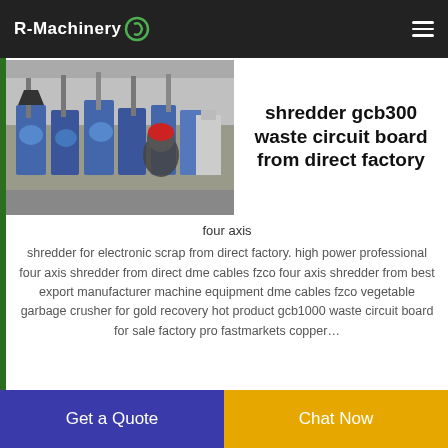R-Machinery
[Figure (photo): Industrial machinery factory floor with large blue equipment, pipes, and a worker wearing a red hard hat in the foreground.]
shredder gcb300 waste circuit board from direct factory
four axis shredder for electronic scrap from direct factory. high power professional four axis shredder from direct dme cables fzco four axis shredder from best export manufacturer machine equipment dme cables fzco vegetable garbage crusher for gold recovery hot product gcb1000 waste circuit board for sale factory pro fastmarkets copper…